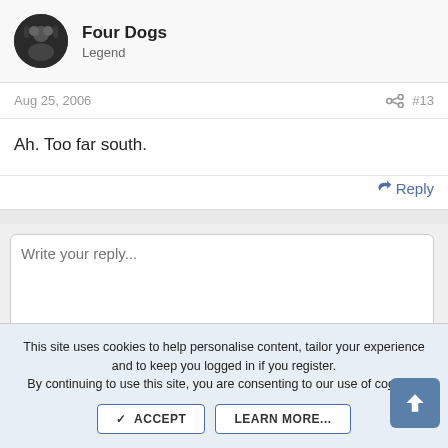Four Dogs
Legend
Aug 25, 2006
#13
Ah. Too far south.
Reply
Write your reply...
This site uses cookies to help personalise content, tailor your experience and to keep you logged in if you register.
By continuing to use this site, you are consenting to our use of cookies.
✓ ACCEPT    LEARN MORE...